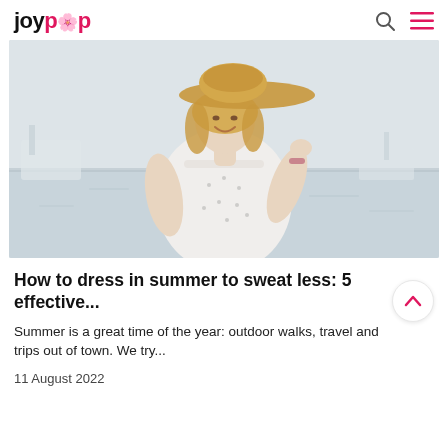joypop
[Figure (photo): Smiling blonde woman wearing a wide-brim straw hat and a white polka-dot short-sleeve top, standing near a marina with boats and water in the background.]
How to dress in summer to sweat less: 5 effective...
Summer is a great time of the year: outdoor walks, travel and trips out of town. We try...
11 August 2022